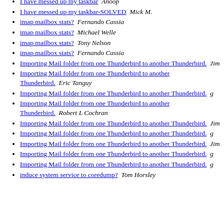I have messed up my taskbar   Anoop
I have messed up my taskbar-SOLVED   Mick M.
imap mailbox stats?   Fernando Cassia
imap mailbox stats?   Michael Welle
imap mailbox stats?   Tony Nelson
imap mailbox stats?   Fernando Cassia
Importing Mail folder from one Thunderbird to another Thunderbird.   Jim
Importing Mail folder from one Thunderbird to another Thunderbird.   Eric Tanguy
Importing Mail folder from one Thunderbird to another Thunderbird.   g
Importing Mail folder from one Thunderbird to another Thunderbird.   Robert L Cochran
Importing Mail folder from one Thunderbird to another Thunderbird.   Jim
Importing Mail folder from one Thunderbird to another Thunderbird.   g
Importing Mail folder from one Thunderbird to another Thunderbird.   Jim
Importing Mail folder from one Thunderbird to another Thunderbird.   g
Importing Mail folder from one Thunderbird to another Thunderbird.   g
induce system service to coredump?   Tom Horsley